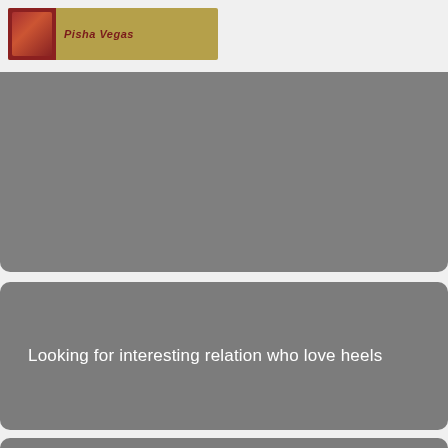[Figure (logo): Small header logo with a reddish thumbnail image on the left and olive/tan background with italic text on the right reading 'Pisha Vegas']
[Figure (photo): Large gray placeholder image card at the top of the page]
[Figure (photo): Gray card with white text: 'Looking for interesting relation who love heels']
[Figure (photo): Partial gray card visible at the bottom of the page]